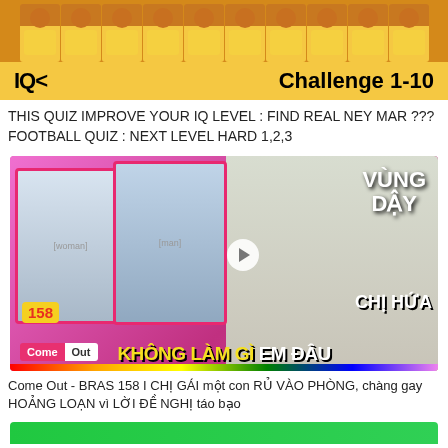[Figure (screenshot): YouTube thumbnail for IQ Challenge quiz featuring Neymar lookalikes in yellow Brazil kits. Yellow background with 'IQ< Challenge 1-10' text banner.]
THIS QUIZ IMPROVE YOUR IQ LEVEL : FIND REAL NEY MAR ??? FOOTBALL QUIZ : NEXT LEVEL HARD 1,2,3
[Figure (screenshot): YouTube thumbnail for 'Come Out - BRAS 158' episode showing a woman, a man, and a person speaking, with Vietnamese text 'VUNG DAY', 'CHI HUA', 'KHONG LAM GI EM DAU']
Come Out - BRAS 158 I CHỊ GÁI một con RỦ VÀO PHÒNG, chàng gay HOẢNG LOẠN vì LỜI ĐỀ NGHỊ táo bạo
[Figure (screenshot): Partial green thumbnail at bottom]